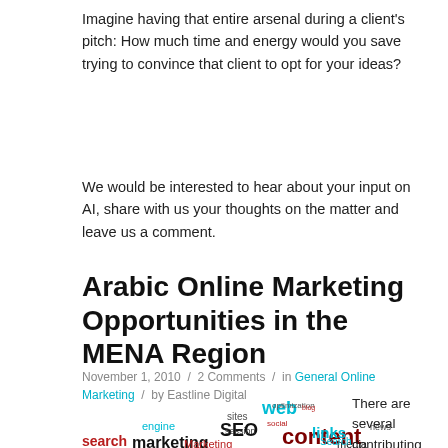Imagine having that entire arsenal during a client's pitch: How much time and energy would you save trying to convince that client to opt for your ideas?
We would be interested to hear about your input on AI, share with us your thoughts on the matter and leave us a comment.
Arabic Online Marketing Opportunities in the MENA Region
November 1, 2010 / 2 Comments / in General Online Marketing / by Eastline Digital
[Figure (illustration): Word cloud featuring online marketing related terms such as web, content, SEO, marketing, search, links, engine, media, sites, optimization, session, audience, news, social, promotion, blog, and many more in various colors (dark red, cyan, black, red).]
There are several contributing factors that lead to the obstacles that b...